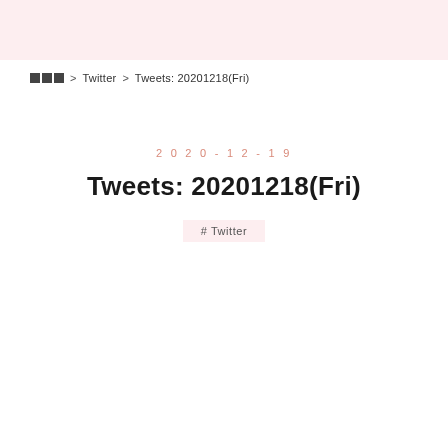■■■ > Twitter > Tweets: 20201218(Fri)
2020-12-19
Tweets: 20201218(Fri)
# Twitter